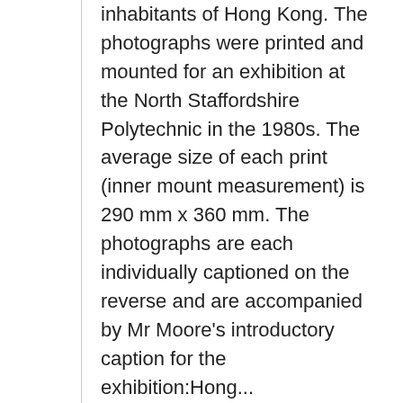inhabitants of Hong Kong. The photographs were printed and mounted for an exhibition at the North Staffordshire Polytechnic in the 1980s. The average size of each print (inner mount measurement) is 290 mm x 360 mm. The photographs are each individually captioned on the reverse and are accompanied by Mr Moore's introductory caption for the exhibition:Hong...
Dates: 1949
Conditions Governing Access: Unless restrictions apply, the collection is open for...